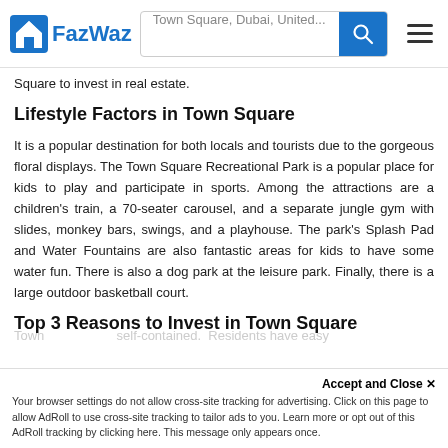FazWaz — Town Square, Dubai, United...
Square to invest in real estate.
Lifestyle Factors in Town Square
It is a popular destination for both locals and tourists due to the gorgeous floral displays. The Town Square Recreational Park is a popular place for kids to play and participate in sports. Among the attractions are a children's train, a 70-seater carousel, and a separate jungle gym with slides, monkey bars, swings, and a playhouse. The park's Splash Pad and Water Fountains are also fantastic areas for kids to have some water fun. There is also a dog park at the leisure park. Finally, there is a large outdoor basketball court.
Top 3 Reasons to Invest in Town Square
Accept and Close ✕
Your browser settings do not allow cross-site tracking for advertising. Click on this page to allow AdRoll to use cross-site tracking to tailor ads to you. Learn more or opt out of this AdRoll tracking by clicking here. This message only appears once.